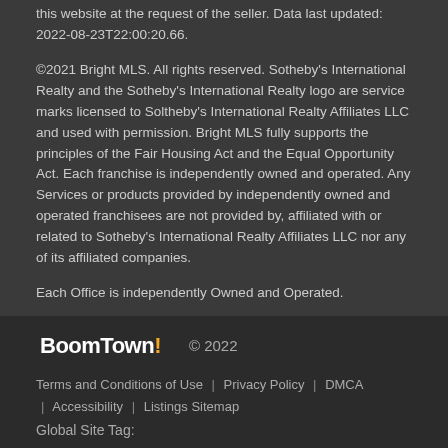Some properties listed with participating firms do not appear on this website at the request of the seller. Data last updated: 2022-08-23T22:00:20.66.
©2021 Bright MLS. All rights reserved. Sotheby's International Realty and the Sotheby's International Realty logo are service marks licensed to Soltheby's International Realty Affiliates LLC and used with permission. Bright MLS fully supports the principles of the Fair Housing Act and the Equal Opportunity Act. Each franchise is independently owned and operated. Any Services or products provided by independently owned and operated franchisees are not provided by, affiliated with or related to Sotheby's International Realty Affiliates LLC nor any of its affiliated companies.
Each Office is independently Owned and Operated.
BoomTown! © 2022  Terms and Conditions of Use | Privacy Policy | DMCA | Accessibility | Listings Sitemap  Global Site Tag: